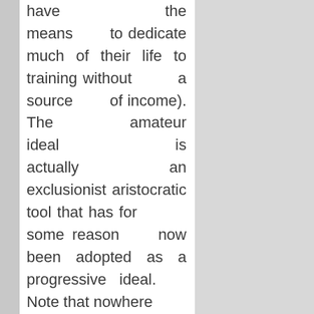have the means to dedicate much of their life to training without a source of income). The amateur ideal is actually an exclusionist aristocratic tool that has for some reason now been adopted as a progressive ideal. Note that nowhere